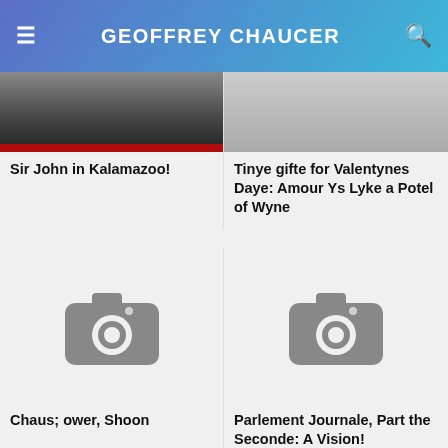GEOFFREY CHAUCER
[Figure (photo): Partially visible photo top left (Sir John in Kalamazoo)]
[Figure (photo): Partially visible photo top right (Tinye gifte for Valentynes Daye)]
Sir John in Kalamazoo!
Tinye gifte for Valentynes Daye: Amour Ys Lyke a Potel of Wyne
[Figure (photo): Placeholder image with camera icon for Chaus; ower, Shoon]
[Figure (photo): Placeholder image with camera icon for Parlement Journale, Part the Seconde: A Vision!]
Chaus; ower, Shoon
Parlement Journale, Part the Seconde: A Vision!
[Figure (photo): Placeholder image with camera icon (bottom left, partially visible)]
[Figure (photo): Placeholder image with camera icon (bottom right, partially visible)]